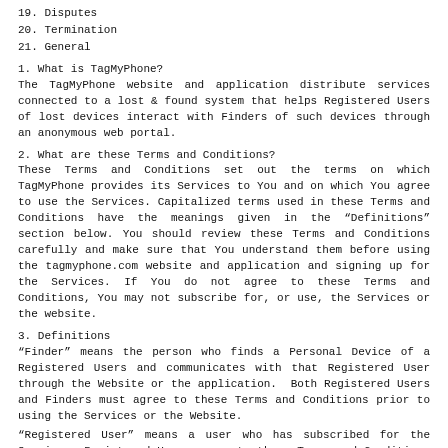19.  Disputes
20.  Termination
21.  General
1.  What is TagMyPhone?
The TagMyPhone website and application distribute services connected to a lost & found system that helps Registered Users of lost devices interact with Finders of such devices through an anonymous web portal.
2.  What are these Terms and Conditions?
These Terms and Conditions set out the terms on which TagMyPhone provides its Services to You and on which You agree to use the Services. Capitalized terms used in these Terms and Conditions have the meanings given in the “Definitions” section below. You should review these Terms and Conditions carefully and make sure that You understand them before using the tagmyphone.com website and application and signing up for the Services. If You do not agree to these Terms and Conditions, You may not subscribe for, or use, the Services or the website.
3.  Definitions
“Finder” means the person who finds a Personal Device of a Registered Users and communicates with that Registered User through the Website or the application.  Both Registered Users and Finders must agree to these Terms and Conditions prior to using the Services or the Website.
“Registered User” means a user who has subscribed for the Services. Registered Users agree to these Terms and Conditions by